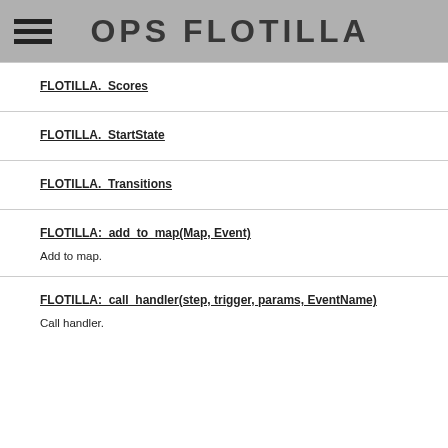OPS FLOTILLA
FLOTILLA._Scores
FLOTILLA._StartState
FLOTILLA._Transitions
FLOTILLA:_add_to_map(Map, Event)
Add to map.
FLOTILLA:_call_handler(step, trigger, params, EventName)
Call handler.